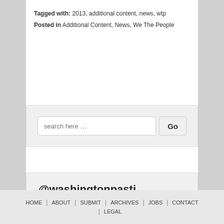Tagged with: 2013, additional content, news, wtp
Posted in Additional Content, News, We The People
[Figure (screenshot): Search bar with text input 'search here …' and a 'Go' button on a light gray background]
[Figure (screenshot): Twitter widget showing @washingtonpasti handle, a Twitter bird icon button, and a 'Follow @washingtonpasti' button in blue]
HOME | ABOUT | SUBMIT | ARCHIVES | JOBS | CONTACT | LEGAL